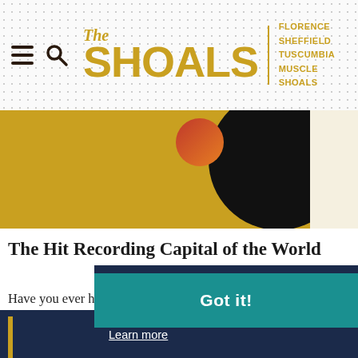The Shoals — Florence, Sheffield, Tuscumbia, Muscle Shoals
[Figure (screenshot): Website screenshot showing The Shoals tourism website header with hamburger menu icon, search icon, and The Shoals logo with city names Florence, Sheffield, Tuscumbia, Muscle Shoals. Below is a hero image with gold background and vinyl record.]
The Hit Recording Capital of the World
Have you ever heard of Aretha Franklin? The Rolling Stones? Paul Simon? The Osmond Brothers...
This website uses cookies to ensure you get the best experience on our website. Learn more
Got it!